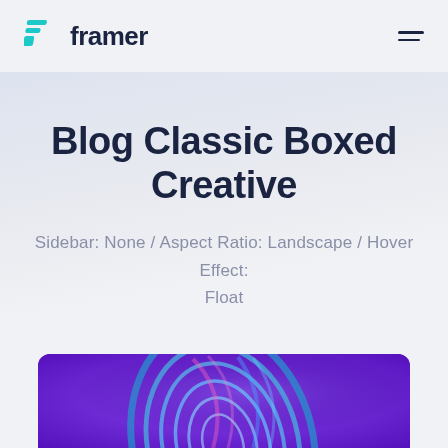framer
Blog Classic Boxed Creative
Sidebar: None / Aspect Ratio: Landscape / Hover Effect: Float
[Figure (illustration): Abstract colorful swirled shell/spiral shape with blue, teal and purple colors on a purple background]